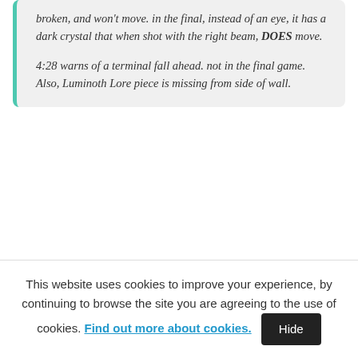broken, and won't move. in the final, instead of an eye, it has a dark crystal that when shot with the right beam, DOES move.
4:28 warns of a terminal fall ahead. not in the final game. Also, Luminoth Lore piece is missing from side of wall.
This website uses cookies to improve your experience, by continuing to browse the site you are agreeing to the use of cookies. Find out more about cookies. Hide